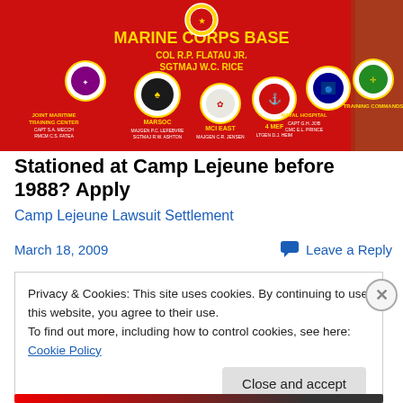[Figure (photo): A red Marine Corps Base Camp Lejeune sign with multiple unit emblems/seals and text including 'MARINE CORPS BASE', 'COL R.P. FLATAU JR.', 'SGTMAJ W.C. RICE', and various unit names like MARSOC, NAVAL HOSPITAL, TRAINING COMMANDS, JOINT MARITIME TRAINING CENTER, MCI EAST, 4 MEF]
Stationed at Camp Lejeune before 1988? Apply
Camp Lejeune Lawsuit Settlement
March 18, 2009
Leave a Reply
Privacy & Cookies: This site uses cookies. By continuing to use this website, you agree to their use.
To find out more, including how to control cookies, see here: Cookie Policy